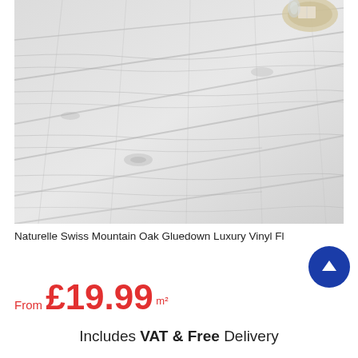[Figure (photo): Luxury vinyl flooring planks in a Swiss Mountain Oak grey/white wood-grain pattern installed in a room, with a decorative plate visible in the top right corner]
Naturelle Swiss Mountain Oak Gluedown Luxury Vinyl Fl
From £19.99 m²
Includes VAT & Free Delivery